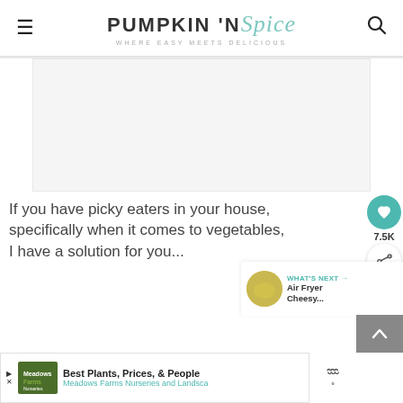PUMPKIN 'N Spice — WHERE EASY MEETS DELICIOUS
[Figure (photo): Large placeholder image area for a recipe photo]
If you have picky eaters in your house, specifically when it comes to vegetables, I have a solution for you...
[Figure (infographic): WHAT'S NEXT → Air Fryer Cheesy... with thumbnail image]
[Figure (infographic): Advertisement: Best Plants, Prices, & People — Meadows Farms Nurseries and Landsca...]